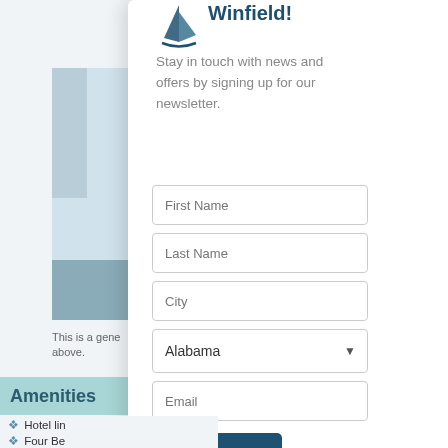Winfield!
Stay in touch with news and offers by signing up for our newsletter.
[Figure (illustration): Sailboat logo in dark teal/navy color]
[Figure (photo): Image placeholder with light blue/teal color blocks representing a property photo]
This is a gene... above.
Amenities
Hotel li...
Four Be...
Hair Dry...
Fully eq... Cuisina...
High-Speed Internet Service